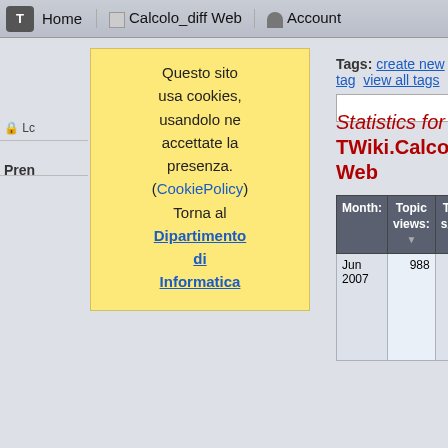T | Home | Calcolo_diff Web | Account
Questo sito usa cookies, usandolo ne accettate la presenza. (CookiePolicy) Torna al Dipartimento di Informatica
Tags: create new tag  view all tags
Statistics for TWiki.Calcolo_diff Web
| Month: | Topic views: | Topic saves: | File uploads: | Mo... top... |
| --- | --- | --- | --- | --- |
| Jun 2007 | 988 | 0 | 0 | 584
189
56
33
19
18
14 |